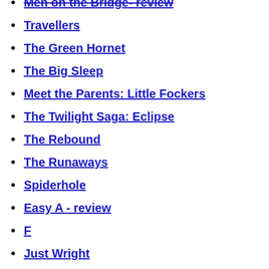Men on the Bridge- review
Travellers
The Green Hornet
The Big Sleep
Meet the Parents: Little Fockers
The Twilight Saga: Eclipse
The Rebound
The Runaways
Spiderhole
Easy A - review
F
Just Wright